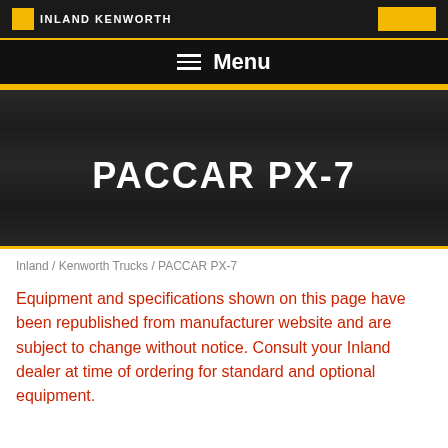INLAND KENWORTH
Menu
[Figure (illustration): Dark brushed metal textured banner background with 'PACCAR PX-7' white text centered, framed by gold/yellow horizontal borders top and bottom]
PACCAR PX-7
Inland / Kenworth Trucks / PACCAR PX-7
Equipment and specifications shown on this page have been republished from manufacturer website and are subject to change without notice. Consult your Inland dealer at time of ordering for standard and optional equipment.